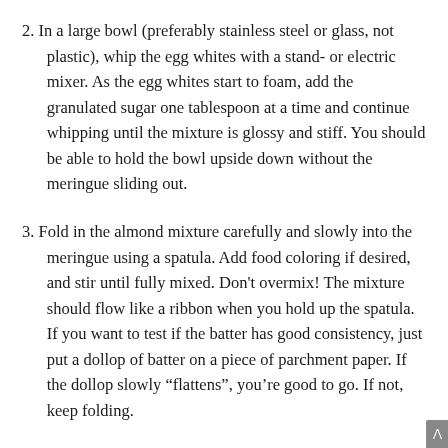2. In a large bowl (preferably stainless steel or glass, not plastic), whip the egg whites with a stand- or electric mixer. As the egg whites start to foam, add the granulated sugar one tablespoon at a time and continue whipping until the mixture is glossy and stiff. You should be able to hold the bowl upside down without the meringue sliding out.
3. Fold in the almond mixture carefully and slowly into the meringue using a spatula. Add food coloring if desired, and stir until fully mixed. Don't overmix! The mixture should flow like a ribbon when you hold up the spatula. If you want to test if the batter has good consistency, just put a dollop of batter on a piece of parchment paper. If the dollop slowly “flattens”, you’re good to go. If not, keep folding.
4. Fill your piping bag and pipe the macarons onto baking sheets. Do not bake them till “flattens”, you’re good to go.